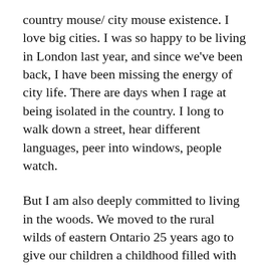country mouse/ city mouse existence. I love big cities. I was so happy to be living in London last year, and since we've been back, I have been missing the energy of city life. There are days when I rage at being isolated in the country. I long to walk down a street, hear different languages, peer into windows, people watch.
But I am also deeply committed to living in the woods. We moved to the rural wilds of eastern Ontario 25 years ago to give our children a childhood filled with trees to climb, stars to count and newts to save. Every day I revel in the beauty of what I learn outside my door.
We were in Toronto this past week, visiting our